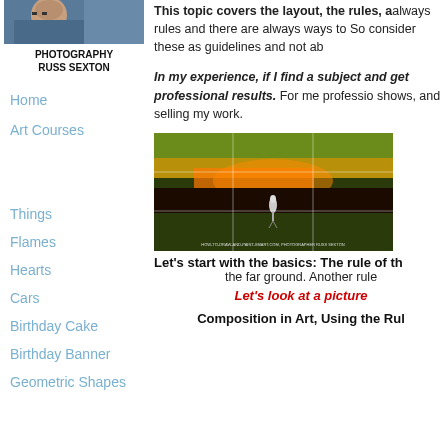[Figure (photo): Portrait photo of a person wearing glasses, partially visible at top of left column]
PHOTOGRAPHY
RUSS SEXTON
Home
Art Courses
Things
Flames
Hearts
Cars
Birthday Cake
Birthday Banner
Geometric Shapes
This topic covers the layout, the rules, a always rules and there are always ways to So consider these as guidelines and not ab
In my experience, if I find a subject and get professional results. For me professio shows, and selling my work.
[Figure (photo): Landscape photograph of a heron standing in a marsh/wetland with golden grasses and a rule-of-thirds grid overlay. Watermark reads: HOW-TO-DRAW-AND-PAINT-SMART.COM, PHOTOGRAPHER RUSS SEXTON]
Let's start with the basics: The rule of th the far ground. Another rule
Let's look at a picture
Composition in Art, Using the Rul